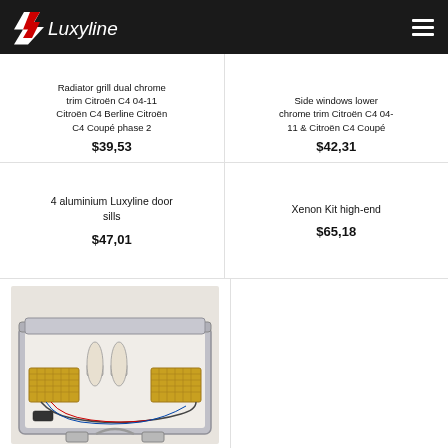Luxyline
Radiator grill dual chrome trim Citroën C4 04-11 Citroën C4 Berline Citroën C4 Coupé phase 2
$39,53
Side windows lower chrome trim Citroën C4 04-11 & Citroën C4 Coupé
$42,31
4 aluminium Luxyline door sills
$47,01
Xenon Kit high-end
$65,18
[Figure (photo): Xenon Kit high-end product photo showing an open silver briefcase containing two gold ballast units, two xenon bulbs, and wiring harnesses arranged in white foam interior.]